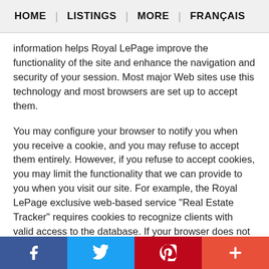HOME | LISTINGS | MORE | FRANÇAIS
information helps Royal LePage improve the functionality of the site and enhance the navigation and security of your session. Most major Web sites use this technology and most browsers are set up to accept them.
You may configure your browser to notify you when you receive a cookie, and you may refuse to accept them entirely. However, if you refuse to accept cookies, you may limit the functionality that we can provide to you when you visit our site. For example, the Royal LePage exclusive web-based service "Real Estate Tracker" requires cookies to recognize clients with valid access to the database. If your browser does not accept cookies, the site will not grant you access via the login and password.
QUESTIONS, CONCERNS AND
f  [twitter bird]  p  +